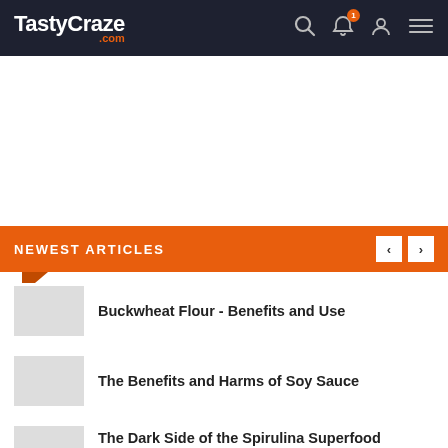TastyCraze.com
NEWEST ARTICLES
Buckwheat Flour - Benefits and Use
The Benefits and Harms of Soy Sauce
The Dark Side of the Spirulina Superfood